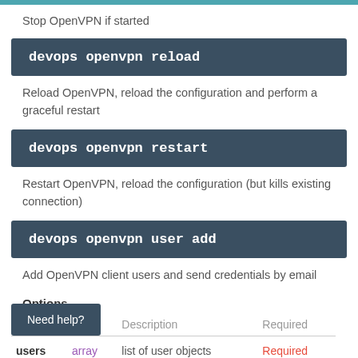Stop OpenVPN if started
devops openvpn reload
Reload OpenVPN, reload the configuration and perform a graceful restart
devops openvpn restart
Restart OpenVPN, reload the configuration (but kills existing connection)
devops openvpn user add
Add OpenVPN client users and send credentials by email
Options
| Name | Type | Description | Required |
| --- | --- | --- | --- |
| users | array | list of user objects | Required |